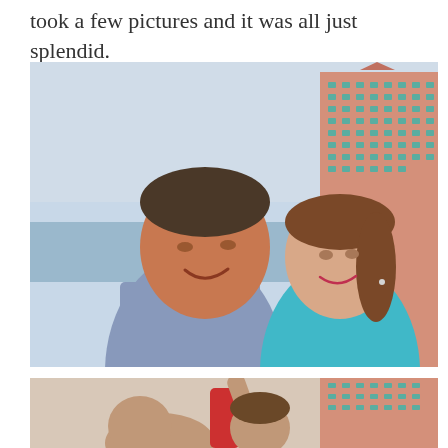took a few pictures and it was all just splendid.
[Figure (photo): A couple smiling together outdoors with a large pink hotel/resort building (Atlantis) visible in the background. The man is wearing a light blue checkered shirt and the woman is wearing a teal/turquoise top.]
[Figure (photo): Partial photo showing children with arms raised, with a similar resort building visible in the background.]